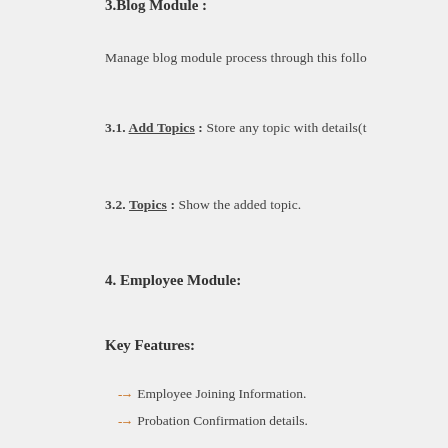3.Blog Module :
Manage blog module process through this follo
3.1. Add Topics : Store any topic with details(t
3.2. Topics : Show the added topic.
4. Employee Module:
Key Features:
Employee Joining Information.
Probation Confirmation details.
Employee Profile.
Employee Current position and job profile.
Family background details.
Employee Local address and References d
Employee Emergency address and contac
Employee Qualification and experience de
Documents submitted by employee.
Assets given to employee.